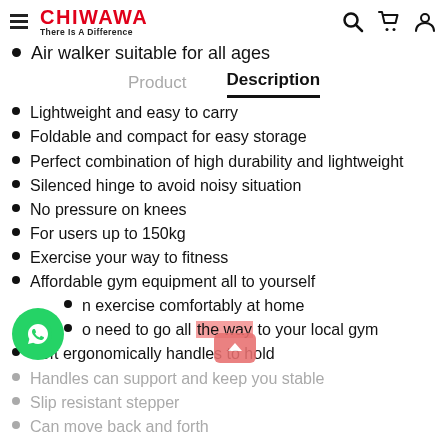CHIWAWA - There Is A Difference
Air walker suitable for all ages
Description
Lightweight and easy to carry
Foldable and compact for easy storage
Perfect combination of high durability and lightweight
Silenced hinge to avoid noisy situation
No pressure on knees
For users up to 150kg
Exercise your way to fitness
Affordable gym equipment all to yourself
Can exercise comfortably at home
No need to go all the way to your local gym
Soft ergonomically handles to hold
Handles can support and keep you stable
Slip resistant stepper
Can move back and forth